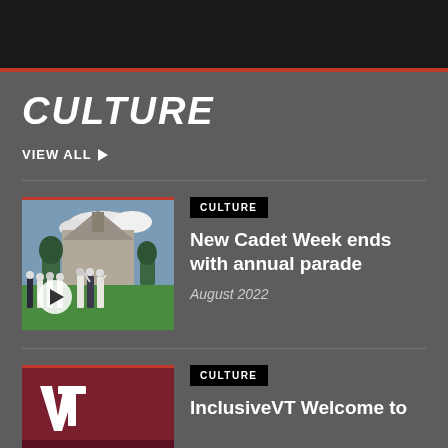CULTURE
VIEW ALL ▶
[Figure (photo): Military cadets in white uniforms on a parade ground with a chapel building in the background; play button overlay]
CULTURE
New Cadet Week ends with annual parade
August 2022
[Figure (logo): Virginia Tech logo on maroon background with partial text]
CULTURE
InclusiveVT Welcome to